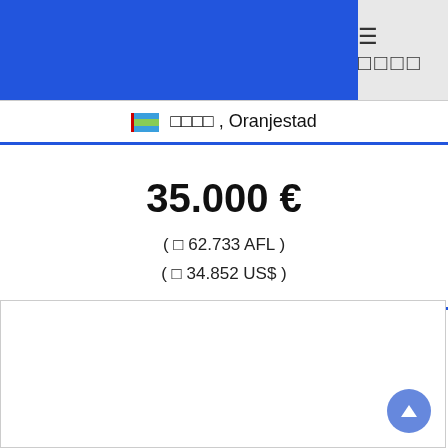☰ □□□□
□□□□ , Oranjestad
35.000 €
( □ 62.733 AFL ) ( □ 34.852 US$ )
[Figure (other): Empty white content area with scroll-to-top button]